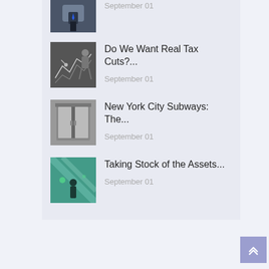September 01
Do We Want Real Tax Cuts?...
September 01
New York City Subways: The...
September 01
Taking Stock of the Assets...
September 01